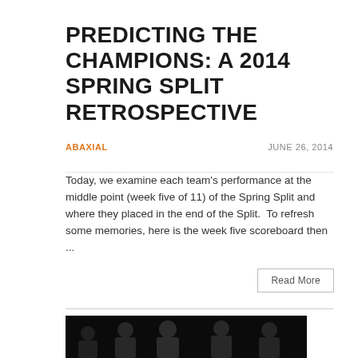PREDICTING THE CHAMPIONS: A 2014 SPRING SPLIT RETROSPECTIVE
ABAXIAL
JUNE 26, 2014
Today, we examine each team's performance at the middle point (week five of 11) of the Spring Split and where they placed in the end of the Split.  To refresh some memories, here is the week five scoreboard then ...
Read More
[Figure (photo): Group photo of five esports players in dark uniforms against a black background]